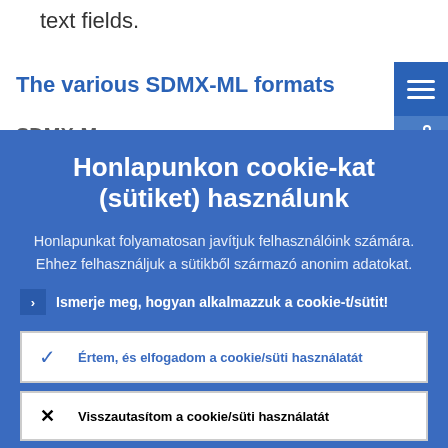text fields.
The various SDMX-ML formats
Honlapunkon cookie-kat (sütiket) használunk
Honlapunkat folyamatosan javítjuk felhasználóink számára. Ehhez felhasználjuk a sütikből származó anonim adatokat.
Ismerje meg, hogyan alkalmazzuk a cookie-t/sütit!
Értem, és elfogadom a cookie/süti használatát
Visszautasítom a cookie/süti használatát